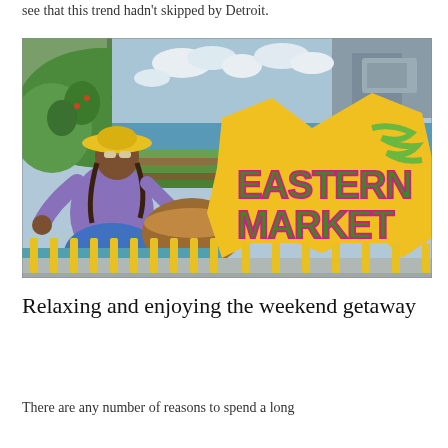see that this trend hadn't skipped by Detroit.
[Figure (photo): A colorful street mural on a building wall depicting a woman in a yellow hat and purple shirt, surrounded by a landscape with green hills, a blue sky with clouds, and vibrant yellow explosive graphic design on the right side with the text 'EASTERN MARKET' in green letters outlined in pink. Yellow bollards line the sidewalk in front.]
Relaxing and enjoying the weekend getaway
There are any number of reasons to spend a long